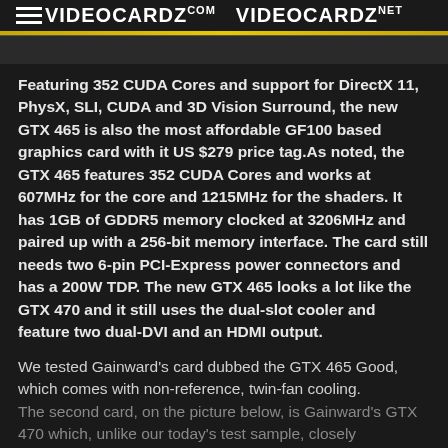VIDEOCARDZ.COM   VIDEOCARDZ.NET
[Figure (photo): Partial view of a graphics card image strip at the top of the article]
Featuring 352 CUDA Cores and support for DirectX 11, PhysX, SLI, CUDA and 3D Vision Surround, the new GTX 465 is also the most affordable GF100 based graphics card with it US $279 price tag.As noted, the GTX 465 features 352 CUDA Cores and works at 607MHz for the core and 1215MHz for the shaders. It has 1GB of GDDR5 memory clocked at 3206MHz and paired up with a 256-bit memory interface. The card still needs two 6-pin PCI-Express power connectors and has a 200W TDP. The new GTX 465 looks a lot like the GTX 470 and it still uses the dual-slot cooler and feature two dual-DVI and an HDMI output.
We tested Gainward's card dubbed the GTX 465 Good, which comes with non-reference, twin-fan cooling. The second card, on the picture below, is Gainward's GTX 470 which, unlike our today's test sample, closely